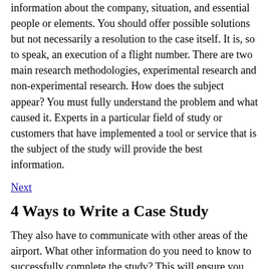information about the company, situation, and essential people or elements. You should offer possible solutions but not necessarily a resolution to the case itself. It is, so to speak, an execution of a flight number. There are two main research methodologies, experimental research and non-experimental research. How does the subject appear? You must fully understand the problem and what caused it. Experts in a particular field of study or customers that have implemented a tool or service that is the subject of the study will provide the best information.
Next
4 Ways to Write a Case Study
They also have to communicate with other areas of the airport. What other information do you need to know to successfully complete the study? This will ensure you have a clear and logical argument. The section ends with specific research protocols for researchers. There should be enough detail to allow the reader to form an educated assumption and make an informed decision about the questions usually two to five questions presented in the case. There are also various uses for writing case studies, from academic research purposes to provision of corporate proof points. What have you talked about in class? You may discover that you need additional information as you analyze all data. You can shar...